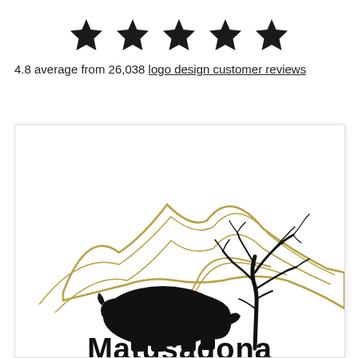[Figure (other): Five black star icons representing a 4.8 star rating]
4.8 average from 26,038 logo design customer reviews
[Figure (logo): Matusadona logo featuring a black rhinoceros silhouette, bare tree silhouette, and golden curved mountain/landscape lines in background, with bold text 'Matusadona' at the bottom]